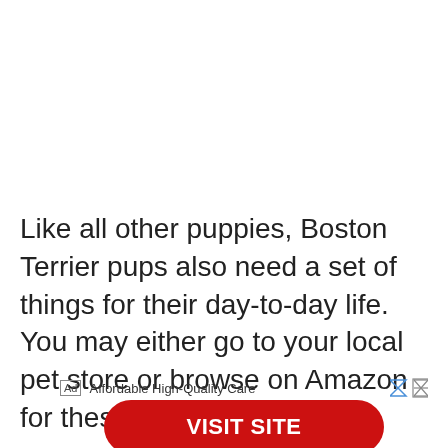Like all other puppies, Boston Terrier pups also need a set of things for their day-to-day life. You may either go to your local pet store or browse on Amazon for these items:
Ad  Affordable High-Quality Care
VISIT SITE